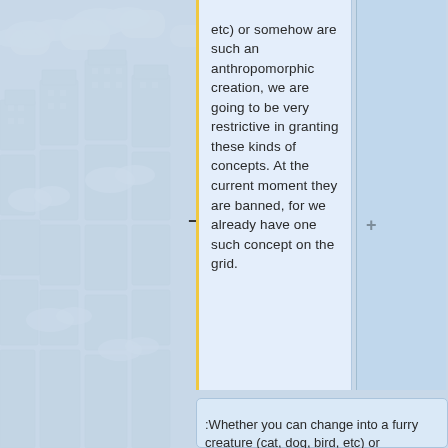[Figure (illustration): Isometric city illustration with buildings and clouds in light blue tones as background]
etc) or somehow are such an anthropomorphic creation, we are going to be very restrictive in granting these kinds of concepts. At the current moment they are banned, for we already have one such concept on the grid.
:Whether you can change into a furry creature (cat, dog, bird, etc) or somehow are such an